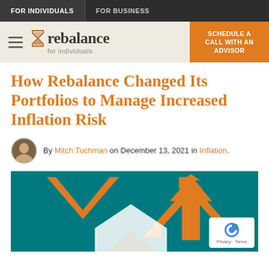FOR INDIVIDUALS | FOR BUSINESS
[Figure (logo): Rebalance logo with hourglass icon and 'for individuals' subtitle, hamburger menu icon on left, orange CTA button 'SCHEDULE A CALL WITH AN ADVISOR' on right]
How Rebalance Changed Its Portfolios to Manage Increased Inflation Risk
By Mitch Tuchman on December 13, 2021 in Inflation.
[Figure (illustration): Teal/green background illustration with orange arrows pointing in different directions, one upward arrow and one downward V-shape arrow, with white geometric shapes at bottom]